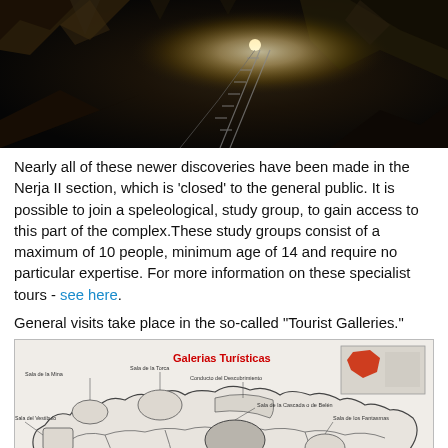[Figure (photo): Interior photo of a cave showing rocky formations and metal staircase with a bright light source in the background, all in dark tones.]
Nearly all of these newer discoveries have been made in the Nerja II section, which is 'closed' to the general public. It is possible to join a speleological, study group, to gain access to this part of the complex.These study groups consist of a maximum of 10 people, minimum age of 14 and require no particular expertise. For more information on these specialist tours - see here.
General visits take place in the so-called "Tourist Galleries."
[Figure (map): Map of Galerias Turisticas (Tourist Galleries) of the Nerja caves showing labeled rooms including Sala de la Mina, Sala de la Torca, Sala del Vestibulo, Conducto del Descubrimiento, Sala de la Cascada o de Belen, Sala de los Fantasmas, Sala de la Oficina, Sala del Belen, with a small inset location map in the top right corner.]